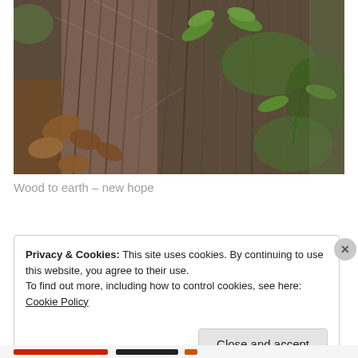[Figure (photo): Close-up photograph of a decaying fallen log with weathered wood grain, brown dried leaves, green moss, and fern plants growing from it in a forest setting.]
Wood to earth – new hope
Privacy & Cookies: This site uses cookies. By continuing to use this website, you agree to their use.
To find out more, including how to control cookies, see here: Cookie Policy
Close and accept